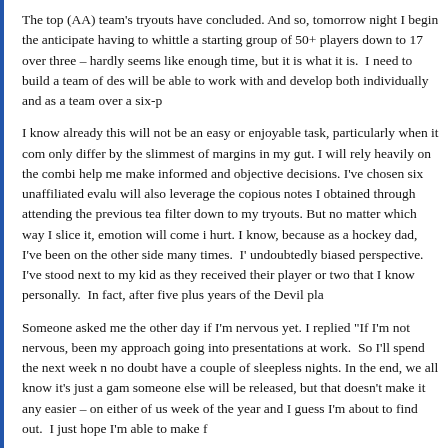The top (AA) team's tryouts have concluded. And so, tomorrow night I begin the anticipate having to whittle a starting group of 50+ players down to 17 over three – hardly seems like enough time, but it is what it is. I need to build a team of des will be able to work with and develop both individually and as a team over a six-p
I know already this will not be an easy or enjoyable task, particularly when it com only differ by the slimmest of margins in my gut. I will rely heavily on the combi help me make informed and objective decisions. I've chosen six unaffiliated evalu will also leverage the copious notes I obtained through attending the previous tea filter down to my tryouts. But no matter which way I slice it, emotion will come i hurt. I know, because as a hockey dad, I've been on the other side many times. I' undoubtedly biased perspective. I've stood next to my kid as they received their player or two that I know personally. In fact, after five plus years of the Devil pla
Someone asked me the other day if I'm nervous yet. I replied "If I'm not nervous, been my approach going into presentations at work. So I'll spend the next week n no doubt have a couple of sleepless nights. In the end, we all know it's just a gam someone else will be released, but that doesn't make it any easier – on either of us week of the year and I guess I'm about to find out. I just hope I'm able to make f
#imahockeycoach and #imahockeydad